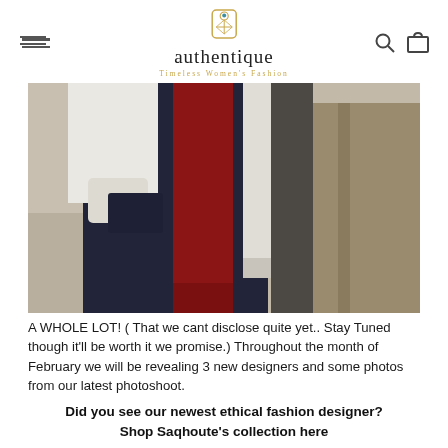authentique — Timeless Women's Fashion
[Figure (photo): Fashion photo showing a woman wearing a dark navy dress/skirt, white long-sleeve top, red fringed scarf, and carrying a tan/khaki jacket, photographed from mid-torso down in an outdoor setting.]
A WHOLE LOT!  ( That we cant disclose quite yet.. Stay Tuned though it'll be worth it we promise.) Throughout the month of February we will be revealing 3 new designers and some photos from our latest photoshoot.
Did you see our newest ethical fashion designer? Shop Saqhoute's collection here